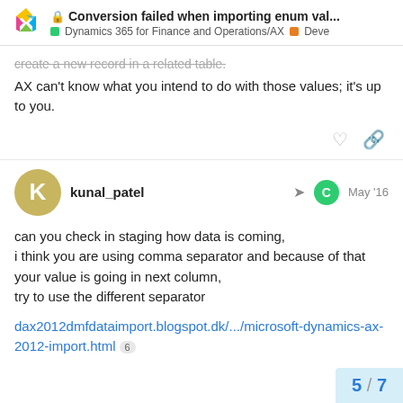Conversion failed when importing enum val... Dynamics 365 for Finance and Operations/AX Deve
create a new record in a related table.
AX can't know what you intend to do with those values; it's up to you.
kunal_patel May '16
can you check in staging how data is coming,
i think you are using comma separator and because of that your value is going in next column,
try to use the different separator
dax2012dmfdataimport.blogspot.dk/.../microsoft-dynamics-ax-2012-import.html 6
5 / 7